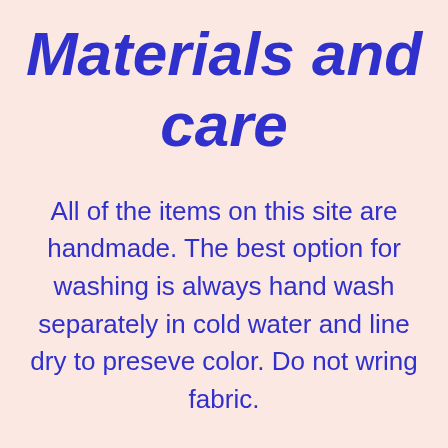Materials and care
All of the items on this site are handmade. The best option for washing is always hand wash separately in cold water and line dry to preseve color. Do not wring fabric.